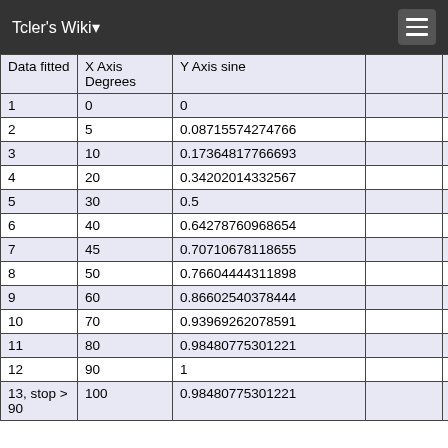Tcler's Wiki
| Data fitted | X Axis Degrees | Y Axis sine |  |  |  |
| --- | --- | --- | --- | --- | --- |
| 1 | 0 | 0 |  |  |  |
| 2 | 5 | 0.08715574274766 |  |  |  |
| 3 | 10 | 0.17364817766693 |  |  |  |
| 4 | 20 | 0.34202014332567 |  |  |  |
| 5 | 30 | 0.5 |  |  |  |
| 6 | 40 | 0.64278760968654 |  |  |  |
| 7 | 45 | 0.70710678118655 |  |  |  |
| 8 | 50 | 0.76604444311898 |  |  |  |
| 9 | 60 | 0.86602540378444 |  |  |  |
| 10 | 70 | 0.93969262078591 |  |  |  |
| 11 | 80 | 0.98480775301221 |  |  |  |
| 12 | 90 | 1 |  |  |  |
| 13, stop > 90 | 100 | 0.98480775301221 |  |  |  |